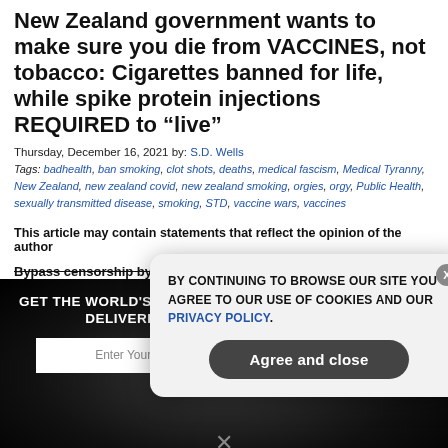New Zealand government wants to make sure you die from VACCINES, not tobacco: Cigarettes banned for life, while spike protein injections REQUIRED to “live”
Thursday, December 16, 2021 by: S.D. Wells
Tags: badhealth, ban smoking, clot shots, deaths, medical fascism, Medical Tyranny, New Zealand, new zealand covid, new zealand smoking, orgies, orgy, Public Health, sexually transmitted disease, smoking, STD, vaccine wars, vaccines
This article may contain statements that reflect the opinion of the author
Bypass censorship by sharing this link:
[Figure (screenshot): Dark newsletter signup section with email input and subscribe button]
[Figure (screenshot): Cookie consent popup overlay with agree and close button and privacy policy link]